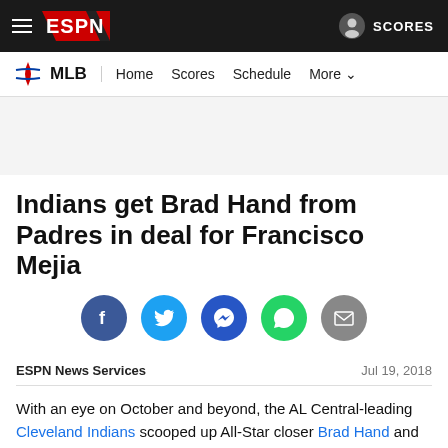ESPN — MLB | Home | Scores | Schedule | More | SCORES
[Figure (logo): ESPN logo on dark navigation bar with hamburger menu and SCORES link]
Indians get Brad Hand from Padres in deal for Francisco Mejia
[Figure (infographic): Social sharing icons: Facebook, Twitter, Messenger, WhatsApp, Email]
ESPN News Services — Jul 19, 2018
With an eye on October and beyond, the AL Central-leading Cleveland Indians scooped up All-Star closer Brad Hand and fellow reliever Adam Cimber from the rebuilding San Diego